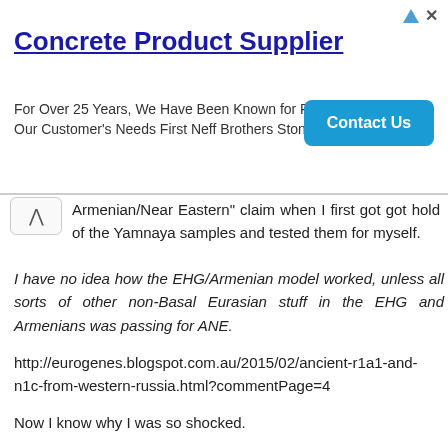[Figure (screenshot): Advertisement banner for Concrete Product Supplier with Contact Us button]
Armenian/Near Eastern" claim when I first got got hold of the Yamnaya samples and tested them for myself.
I have no idea how the EHG/Armenian model worked, unless all sorts of other non-Basal Eurasian stuff in the EHG and Armenians was passing for ANE.
http://eurogenes.blogspot.com.au/2015/02/ancient-r1a1-and-n1c-from-western-russia.html?commentPage=4
Now I know why I was so shocked.
CHG is not typically Near Eastern, and I'd say the CHG that mixed into Yamnaya was even less typically Near Eastern.
Reply